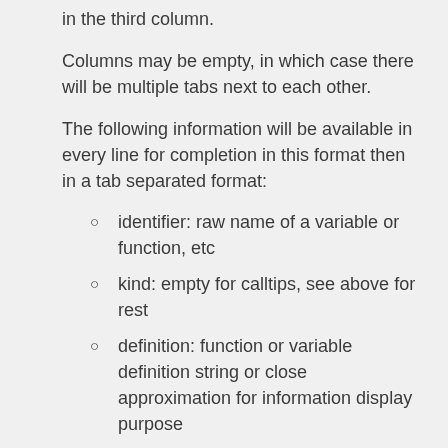in the third column.
Columns may be empty, in which case there will be multiple tabs next to each other.
The following information will be available in every line for completion in this format then in a tab separated format:
identifier: raw name of a variable or function, etc
kind: empty for calltips, see above for rest
definition: function or variable definition string or close approximation for information display purpose
symbol location: in which file (or stdin) & byte offset this symbol is defined. Separated with a space.
documentation: ascoped documentation string